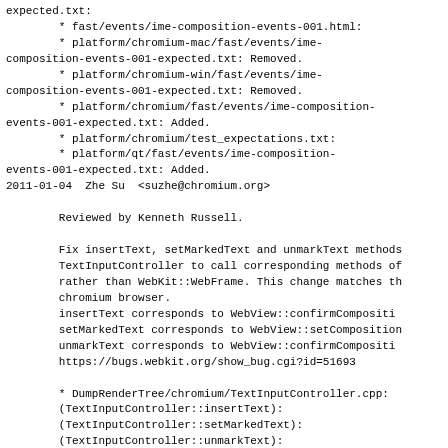expected.txt:
        * fast/events/ime-composition-events-001.html:
        * platform/chromium-mac/fast/events/ime-composition-events-001-expected.txt: Removed.
        * platform/chromium-win/fast/events/ime-composition-events-001-expected.txt: Removed.
        * platform/chromium/fast/events/ime-composition-events-001-expected.txt: Added.
        * platform/chromium/test_expectations.txt:
        * platform/qt/fast/events/ime-composition-events-001-expected.txt: Added.
2011-01-04  Zhe Su  <suzhe@chromium.org>

        Reviewed by Kenneth Russell.

        Fix insertText, setMarkedText and unmarkText methods TextInputController to call corresponding methods of rather than WebKit::WebFrame. This change matches th chromium browser.
        insertText corresponds to WebView::confirmCompositi setMarkedText corresponds to WebView::setComposition unmarkText corresponds to WebView::confirmCompositi https://bugs.webkit.org/show_bug.cgi?id=51693

        * DumpRenderTree/chromium/TextInputController.cpp: (TextInputController::insertText): (TextInputController::setMarkedText): (TextInputController::unmarkText):
2011-01-04  Zhe Su  <suzhe@chromium.org>

        Reviewed by Kenneth Russell.